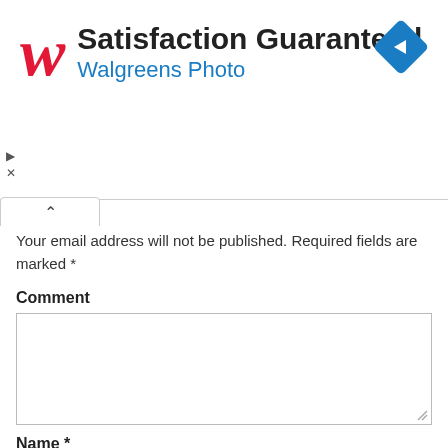[Figure (screenshot): Walgreens Photo advertisement banner with red italic W logo, bold text 'Satisfaction Guaranteed', blue subtitle 'Walgreens Photo', and a blue diamond-shaped navigation icon on the right. Small play and close controls on the left side.]
Your email address will not be published. Required fields are marked *
Comment
Name *